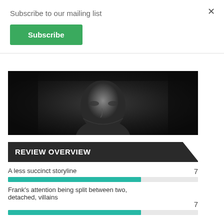Subscribe to our mailing list
Subscribe
×
[Figure (photo): Dark moody black and white portrait of a man with strong facial features looking at the camera]
REVIEW OVERVIEW
A less succinct storyline
7
Frank's attention being split between two, detached, villains
7